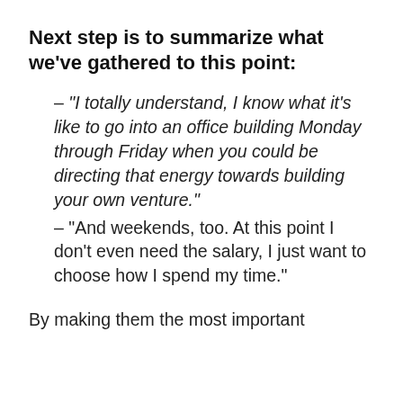Next step is to summarize what we've gathered to this point:
– “I totally understand, I know what it’s like to go into an office building Monday through Friday when you could be directing that energy towards building your own venture.”
– “And weekends, too. At this point I don’t even need the salary, I just want to choose how I spend my time.”
By making them the most important